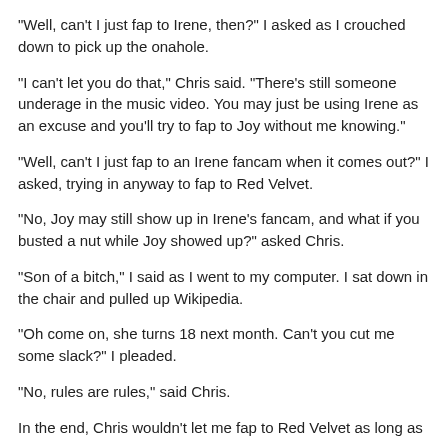"Well, can't I just fap to Irene, then?" I asked as I crouched down to pick up the onahole.
"I can't let you do that," Chris said. "There's still someone underage in the music video. You may just be using Irene as an excuse and you'll try to fap to Joy without me knowing."
"Well, can't I just fap to an Irene fancam when it comes out?" I asked, trying in anyway to fap to Red Velvet.
"No, Joy may still show up in Irene's fancam, and what if you busted a nut while Joy showed up?" asked Chris.
"Son of a bitch," I said as I went to my computer. I sat down in the chair and pulled up Wikipedia.
"Oh come on, she turns 18 next month. Can't you cut me some slack?" I pleaded.
"No, rules are rules," said Chris.
In the end, Chris wouldn't let me fap to Red Velvet as long as